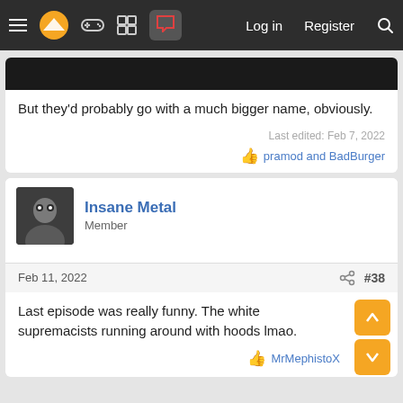Log in  Register
But they'd probably go with a much bigger name, obviously.
Last edited: Feb 7, 2022
pramod and BadBurger
Insane Metal
Member
Feb 11, 2022
#38
Last episode was really funny. The white supremacists running around with hoods lmao.
MrMephistoX